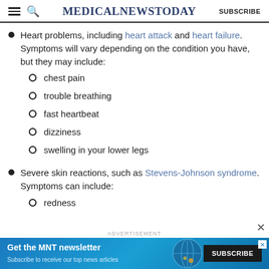MedicalNewsToday SUBSCRIBE
Heart problems, including heart attack and heart failure. Symptoms will vary depending on the condition you have, but they may include:
chest pain
trouble breathing
fast heartbeat
dizziness
swelling in your lower legs
Severe skin reactions, such as Stevens-Johnson syndrome. Symptoms can include:
redness
ADVERTISEMENT Get the MNT newsletter Subscribe to receive our top news articles SUBSCRIBE